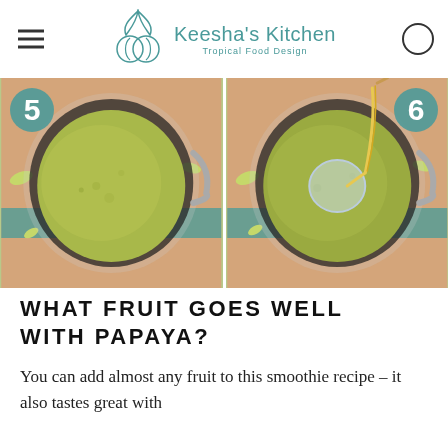Keesha's Kitchen – Tropical Food Design
[Figure (photo): Two side-by-side overhead shots of a blender containing green smoothie. Left image labeled step 5 shows the blended green mixture. Right image labeled step 6 shows honey being drizzled into the blender.]
WHAT FRUIT GOES WELL WITH PAPAYA?
You can add almost any fruit to this smoothie recipe – it also tastes great with